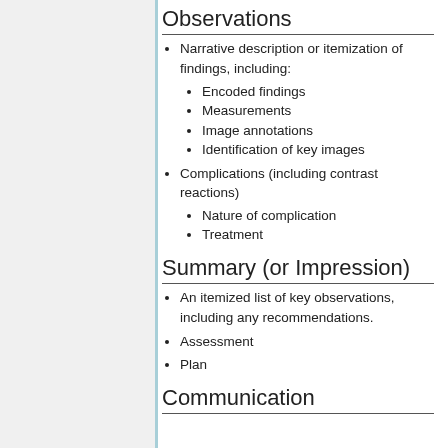Observations
Narrative description or itemization of findings, including:
Encoded findings
Measurements
Image annotations
Identification of key images
Complications (including contrast reactions)
Nature of complication
Treatment
Summary (or Impression)
An itemized list of key observations, including any recommendations.
Assessment
Plan
Communication